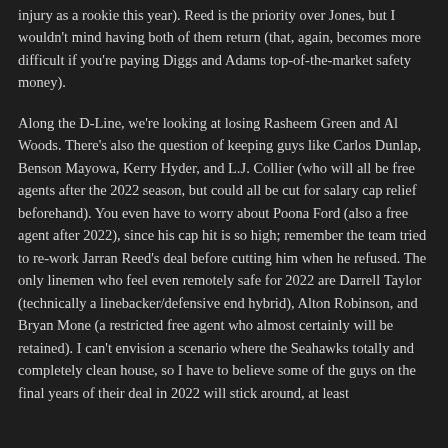injury as a rookie this year). Reed is the priority over Jones, but I wouldn't mind having both of them return (that, again, becomes more difficult if you're paying Diggs and Adams top-of-the-market safety money).
Along the D-Line, we're looking at losing Rasheem Green and Al Woods. There's also the question of keeping guys like Carlos Dunlap, Benson Mayowa, Kerry Hyder, and L.J. Collier (who will all be free agents after the 2022 season, but could all be cut for salary cap relief beforehand). You even have to worry about Poona Ford (also a free agent after 2022), since his cap hit is so high; remember the team tried to re-work Jarran Reed's deal before cutting him when he refused. The only linemen who feel even remotely safe for 2022 are Darrell Taylor (technically a linebacker/defensive end hybrid), Alton Robinson, and Bryan Mone (a restricted free agent who almost certainly will be retained). I can't envision a scenario where the Seahawks totally and completely clean house, so I have to believe some of the guys on the final years of their deal in 2022 will stick around, at least